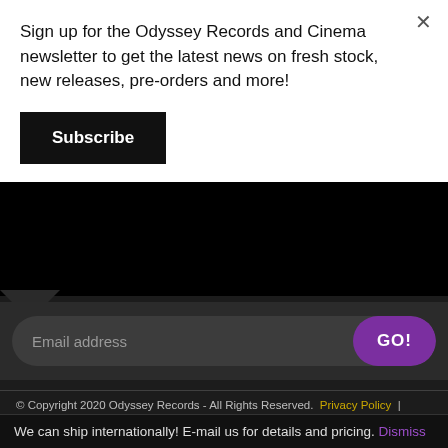Sign up for the Odyssey Records and Cinema newsletter to get the latest news on fresh stock, new releases, pre-orders and more!
Subscribe
Email address
GO!
© Copyright 2020 Odyssey Records - All Rights Reserved.  Privacy Policy  |  Terms and Conditions  |  Return Policy
[Figure (logo): GRIP:EDGE Web Design and Digital Marketing logo with white text on dark background and yellow subtitle]
We can ship internationally! E-mail us for details and pricing. Dismiss